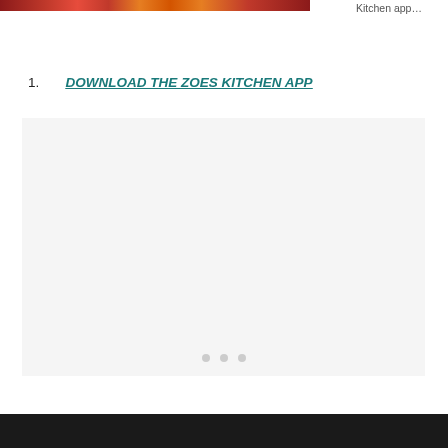[Figure (photo): Partial food photo at the top left, showing colorful dishes]
Kitchen app…
1.   DOWNLOAD THE ZOES KITCHEN APP
[Figure (screenshot): App screenshot placeholder area with light gray background and three navigation dots at the bottom]